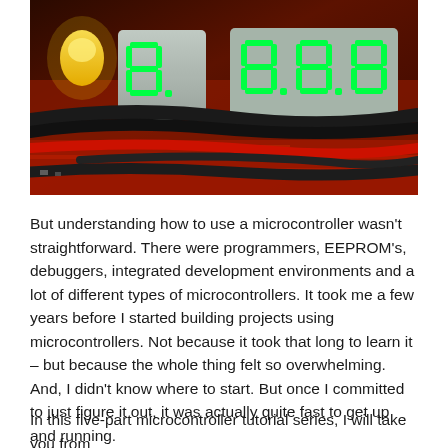[Figure (photo): Close-up photo of green seven-segment LED display modules on a red circuit board, with various wires (black, red) visible in the background. A yellow LED is visible on the left side.]
But understanding how to use a microcontroller wasn't straightforward. There were programmers, EEPROM's, debuggers, integrated development environments and a lot of different types of microcontrollers. It took me a few years before I started building projects using microcontrollers. Not because it took that long to learn it – but because the whole thing felt so overwhelming. And, I didn't know where to start. But once I committed to just figure it out, it was actually quite fast to get up and running.
In this five-part microcontroller tutorial series, I will take you from